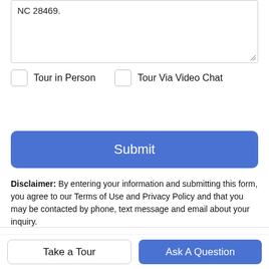NC 28469.
Tour in Person
Tour Via Video Chat
Submit
Disclaimer: By entering your information and submitting this form, you agree to our Terms of Use and Privacy Policy and that you may be contacted by phone, text message and email about your inquiry.
© 2022 NCRMLS. All rights reserved. North
Take a Tour
Ask A Question